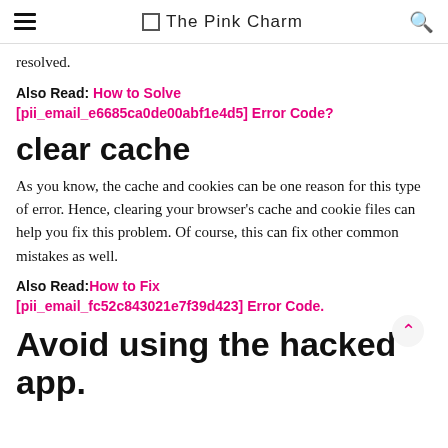The Pink Charm
resolved.
Also Read: How to Solve [pii_email_e6685ca0de00abf1e4d5] Error Code?
clear cache
As you know, the cache and cookies can be one reason for this type of error. Hence, clearing your browser's cache and cookie files can help you fix this problem. Of course, this can fix other common mistakes as well.
Also Read: How to Fix [pii_email_fc52c843021e7f39d423] Error Code.
Avoid using the hacked app.